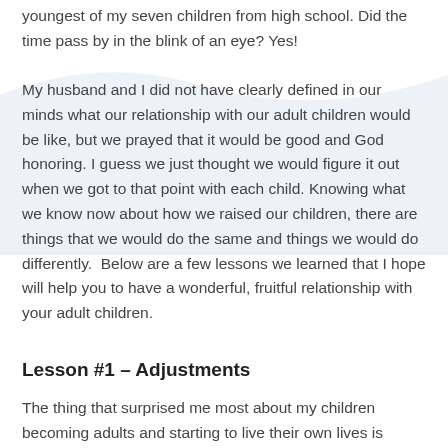youngest of my seven children from high school. Did the time pass by in the blink of an eye? Yes!
My husband and I did not have clearly defined in our minds what our relationship with our adult children would be like, but we prayed that it would be good and God honoring. I guess we just thought we would figure it out when we got to that point with each child. Knowing what we know now about how we raised our children, there are things that we would do the same and things we would do differently.  Below are a few lessons we learned that I hope will help you to have a wonderful, fruitful relationship with your adult children.
Lesson #1 – Adjustments
The thing that surprised me most about my children becoming adults and starting to live their own lives is